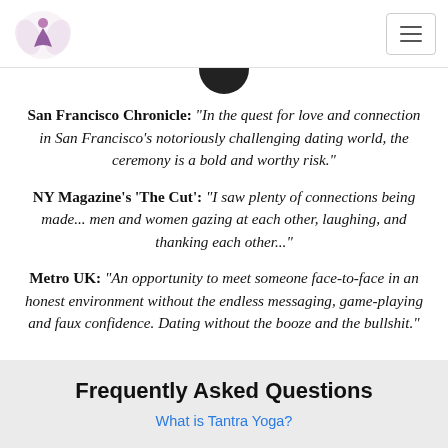Logo and navigation menu
San Francisco Chronicle: "In the quest for love and connection in San Francisco's notoriously challenging dating world, the ceremony is a bold and worthy risk."
NY Magazine's 'The Cut': "I saw plenty of connections being made... men and women gazing at each other, laughing, and thanking each other..."
Metro UK: "An opportunity to meet someone face-to-face in an honest environment without the endless messaging, game-playing and faux confidence. Dating without the booze and the bullshit."
Frequently Asked Questions
What is Tantra Yoga?